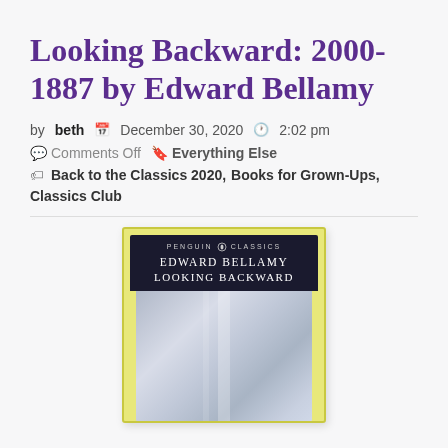Looking Backward: 2000-1887 by Edward Bellamy
by beth   December 30, 2020   2:02 pm
Comments Off   Everything Else
Back to the Classics 2020, Books for Grown-Ups, Classics Club
[Figure (photo): Penguin Classics edition book cover of 'Looking Backward' by Edward Bellamy. Dark navy header with 'Penguin Classics' and 'Edward Bellamy / Looking Backward' in white text, below which is an abstract bluish-grey cover image.]